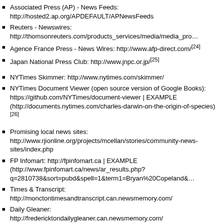Associated Press (AP) - News Feeds: http://hosted2.ap.org/APDEFAULT/APNewsFeeds
Reuters - Newswires: http://thomsonreuters.com/products_services/media/media_pro...
Agence France Press - News Wires: http://www.afp-direct.com/[24]
Japan National Press Club: http://www.jnpc.or.jp/[25]
NYTimes Skimmer: http://www.nytimes.com/skimmer/
NYTimes Document Viewer (open source version of Google Books): https://github.com/NYTimes/document-viewer | EXAMPLE (http://documents.nytimes.com/charles-darwin-on-the-origin-of-species) [26]
Promising local news sites: http://www.rjionline.org/projects/mcellan/stories/community-news-sites/index.php
FP Infomart: http://fpinfomart.ca | EXAMPLE (http://www.fpinfomart.ca/news/ar_results.php?q=2810738&sort=pubd&spell=1&term1=Bryan%20Copeland&...
Times & Transcript: http://monctontimesandtranscript.can.newsmemory.com/
Daily Gleaner: http://fredericktondailygleaner.can.newsmemory.com/
Telegraph Journal: